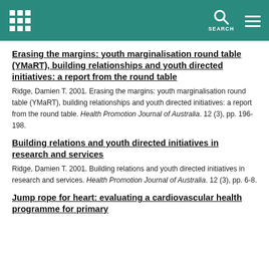SEARCH
Erasing the margins: youth marginalisation round table (YMaRT), building relationships and youth directed initiatives: a report from the round table
Ridge, Damien T. 2001. Erasing the margins: youth marginalisation round table (YMaRT), building relationships and youth directed initiatives: a report from the round table. Health Promotion Journal of Australia. 12 (3), pp. 196-198.
Building relations and youth directed initiatives in research and services
Ridge, Damien T. 2001. Building relations and youth directed initiatives in research and services. Health Promotion Journal of Australia. 12 (3), pp. 6-8.
Jump rope for heart: evaluating a cardiovascular health programme for primary